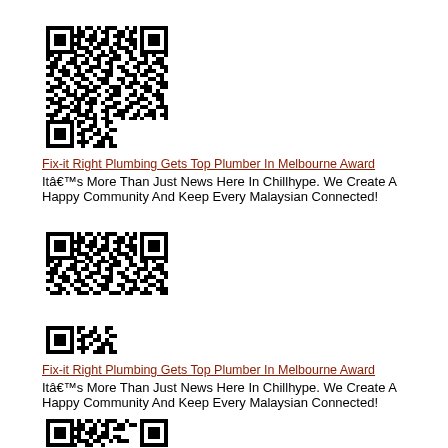[Figure (other): QR code image linking to Fix-it Right Plumbing article]
Fix-it Right Plumbing Gets Top Plumber In Melbourne Award
It’s More Than Just News Here In Chillhype. We Create A Happy Community And Keep Every Malaysian Connected!
[Figure (other): QR code image linking to Fix-it Right Plumbing article]
Fix-it Right Plumbing Gets Top Plumber In Melbourne Award
It’s More Than Just News Here In Chillhype. We Create A Happy Community And Keep Every Malaysian Connected!
[Figure (other): QR code image (partially visible) linking to Fix-it Right Plumbing article]